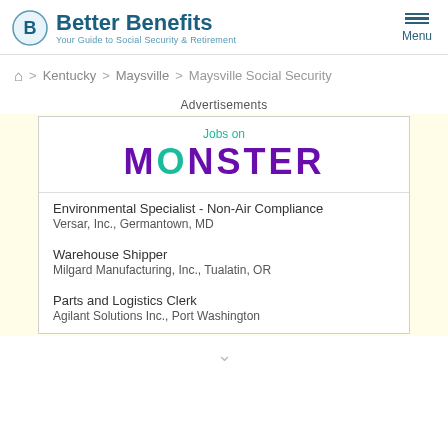Better Benefits — Your Guide to Social Security & Retirement
Home > Kentucky > Maysville > Maysville Social Security
Advertisements
[Figure (infographic): Jobs on Monster advertisement banner with teal 'Jobs on' text and large purple MONSTER wordmark with teal 'O']
Environmental Specialist - Non-Air Compliance
Versar, Inc., Germantown, MD
Warehouse Shipper
Milgard Manufacturing, Inc., Tualatin, OR
Parts and Logistics Clerk
Agilant Solutions Inc., Port Washington